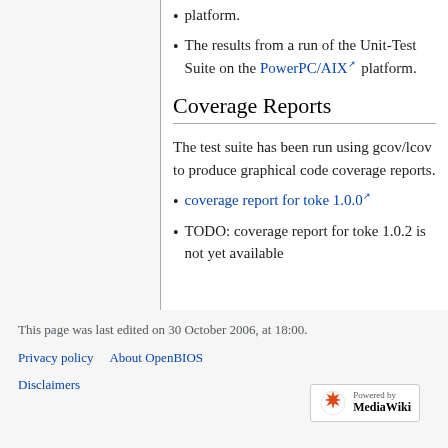platform.
The results from a run of the Unit-Test Suite on the PowerPC/AIX platform.
Coverage Reports
The test suite has been run using gcov/lcov to produce graphical code coverage reports.
coverage report for toke 1.0.0
TODO: coverage report for toke 1.0.2 is not yet available
This page was last edited on 30 October 2006, at 18:00.
Privacy policy   About OpenBIOS
Disclaimers